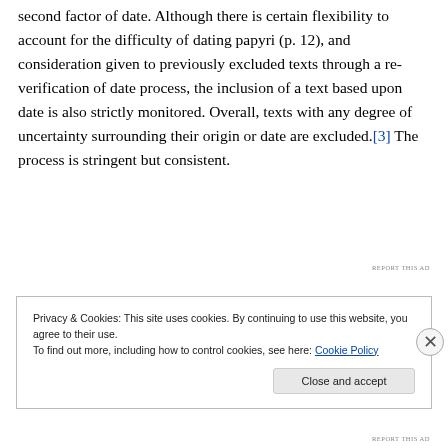second factor of date. Although there is certain flexibility to account for the difficulty of dating papyri (p. 12), and consideration given to previously excluded texts through a re-verification of date process, the inclusion of a text based upon date is also strictly monitored. Overall, texts with any degree of uncertainty surrounding their origin or date are excluded.[3] The process is stringent but consistent.
[Figure (other): Red advertisement banner placeholder]
Privacy & Cookies: This site uses cookies. By continuing to use this website, you agree to their use.
To find out more, including how to control cookies, see here: Cookie Policy
Close and accept